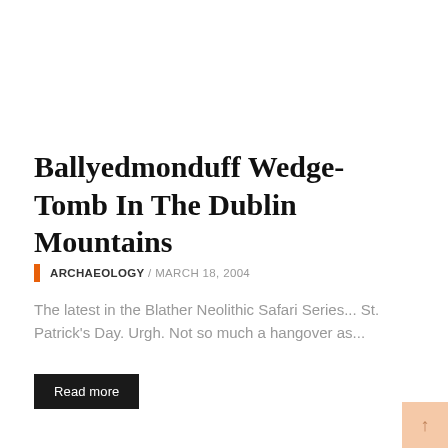Ballyedmonduff Wedge-Tomb In The Dublin Mountains
ARCHAEOLOGY / MARCH 18, 2004
The latest in the Blather Neolithic Safari Series... St. Patrick's Day. Urgh. Not so much a hangover as...
Read more